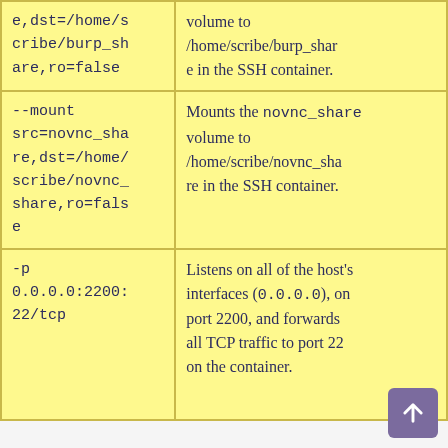| Command/Flag | Description |
| --- | --- |
| e,dst=/home/scribe/burp_share,ro=false | volume to /home/scribe/burp_share in the SSH container. |
| --mount src=novnc_share,dst=/home/scribe/novnc_share,ro=false | Mounts the novnc_share volume to /home/scribe/novnc_share in the SSH container. |
| -p 0.0.0.0:2200:22/tcp | Listens on all of the host's interfaces (0.0.0.0), on port 2200, and forwards all TCP traffic to port 22 on the container. |